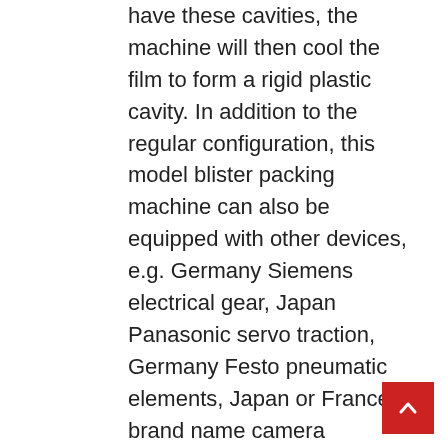have these cavities, the machine will then cool the film to form a rigid plastic cavity. In addition to the regular configuration, this model blister packing machine can also be equipped with other devices, e.g. Germany Siemens electrical gear, Japan Panasonic servo traction, Germany Festo pneumatic elements, Japan or France brand name camera detection. Digital packaging marketplace is observed to gradually contain traditional packaging formats which are remodeled to incorporate the principles of digital packaging. As you can see from the technical specifications, you can very easily adjust the machine specifications to your exclusive packaging requirements. Molds manufacturing : Consumer provide sample(3D drawing)—Tooling